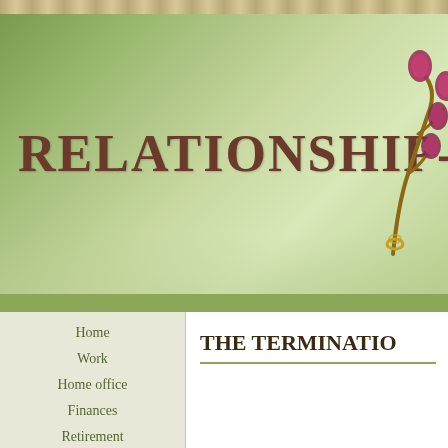[Figure (screenshot): Website header banner with green gradient background, large decorative site title text 'RELATIONSHIP-AFFA' (truncated) in dark brown ornate font, and floral orchid decoration in top right corner]
Home
Work
Home office
Finances
Retirement
Depression
THE TERMINATIO